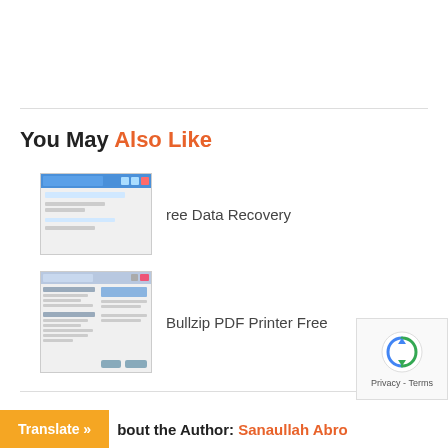You May Also Like
[Figure (screenshot): Thumbnail screenshot of a data recovery software window with blue UI elements]
Free Data Recovery
[Figure (screenshot): Thumbnail screenshot of Bullzip PDF Printer Free settings/dialog window]
Bullzip PDF Printer Free
About the Author: Sanaullah Abro